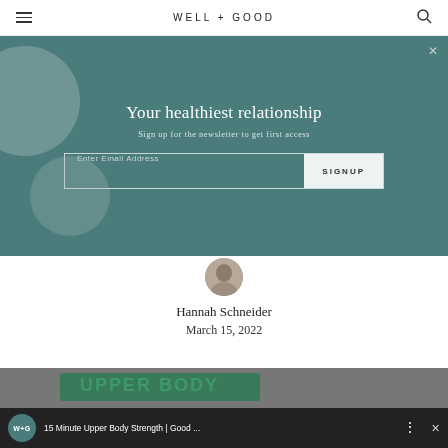WELL+GOOD
Your healthiest relationship
Sign up for the newsletter to get first access
Enter Email Address  SIGNUP
Hannah Schneider
March 15, 2022
[Figure (screenshot): Video bar showing '15 Minute Upper Body Strength | Good ...' with W+G badge logo and menu dots]
15 Minute Upper Body Strength | Good ...